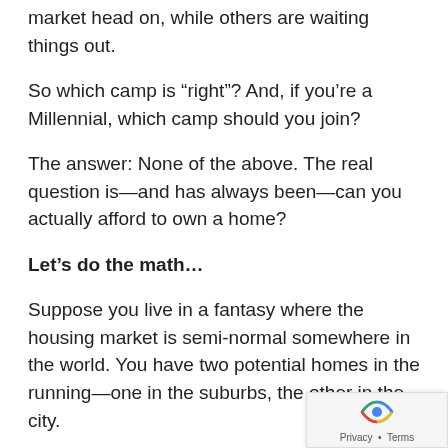Some millennials are choosing to face the housing market head on, while others are waiting things out.
So which camp is “right”? And, if you’re a Millennial, which camp should you join?
The answer: None of the above. The real question is—and has always been—can you actually afford to own a home?
Let’s do the math…
Suppose you live in a fantasy where the housing market is semi-normal somewhere in the world. You have two potential homes in the running—one in the suburbs, the other in the city.
The suburban home costs $300,000 with a 30-year mortgage at a rate of 6%.
The city home costs $500,000 with a 30-year mortgage at a rate of 2%.